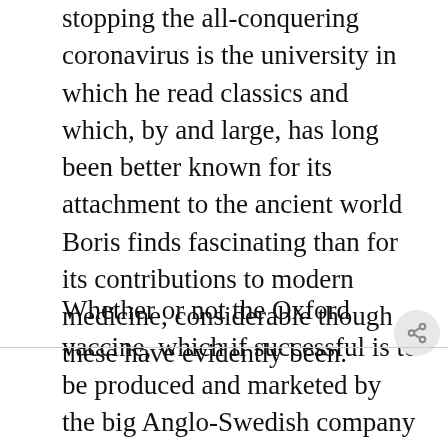stopping the all-conquering coronavirus is the university in which he read classics and which, by and large, has long been better known for its attachment to the ancient world Boris finds fascinating than for its contributions to modern medicine, considerable though these have evidently been.
Whether or not the Oxford vaccine, which if successful is to be produced and marketed by the big Anglo-Swedish company AstraZeneca, does prove to be as beneficial as not just the researchers but millions of others fervently hope is still an open question, but it would seem that up to now